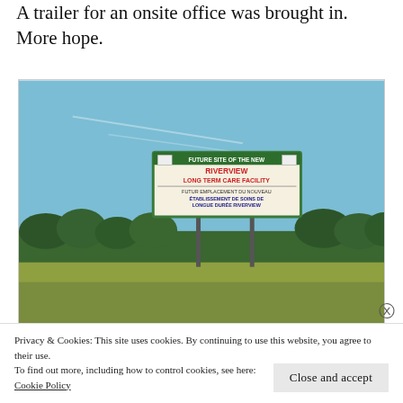A trailer for an onsite office was brought in. More hope.
[Figure (photo): Outdoor photograph of a large bilingual sign on poles in a grassy field under a blue sky. The sign reads: FUTURE SITE OF THE NEW RIVERVIEW LONG TERM CARE FACILITY / FUTUR EMPLACEMENT DU NOUVEAU ÉTABLISSEMENT DE SOINS DE LONGUE DURÉE RIVERVIEW]
Privacy & Cookies: This site uses cookies. By continuing to use this website, you agree to their use.
To find out more, including how to control cookies, see here:
Cookie Policy
Close and accept